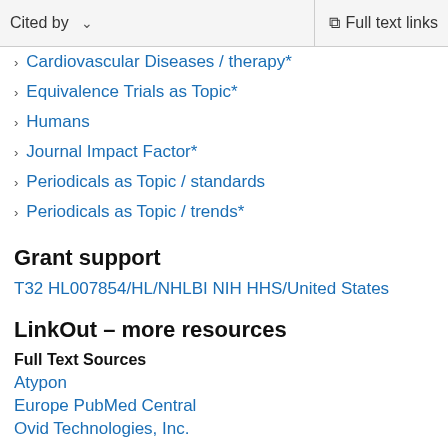Cited by   Full text links
Cardiovascular Diseases / therapy*
Equivalence Trials as Topic*
Humans
Journal Impact Factor*
Periodicals as Topic / standards
Periodicals as Topic / trends*
Grant support
T32 HL007854/HL/NHLBI NIH HHS/United States
LinkOut – more resources
Full Text Sources
Atypon
Europe PubMed Central
Ovid Technologies, Inc.